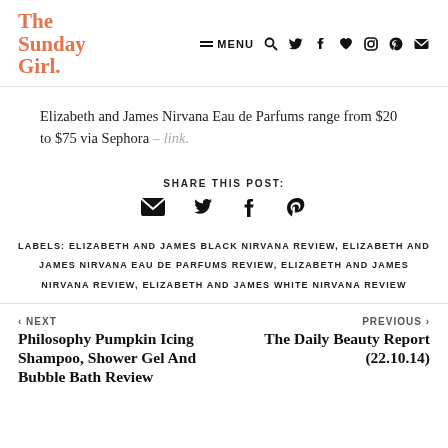The Sunday Girl. — MENU (nav icons: search, twitter, facebook, heart, instagram, pinterest, email)
Elizabeth and James Nirvana Eau de Parfums range from $20 to $75 via Sephora – link.
SHARE THIS POST:
LABELS: ELIZABETH AND JAMES BLACK NIRVANA REVIEW, ELIZABETH AND JAMES NIRVANA EAU DE PARFUMS REVIEW, ELIZABETH AND JAMES NIRVANA REVIEW, ELIZABETH AND JAMES WHITE NIRVANA REVIEW
‹ NEXT — Philosophy Pumpkin Icing Shampoo, Shower Gel And Bubble Bath Review
PREVIOUS › — The Daily Beauty Report (22.10.14)